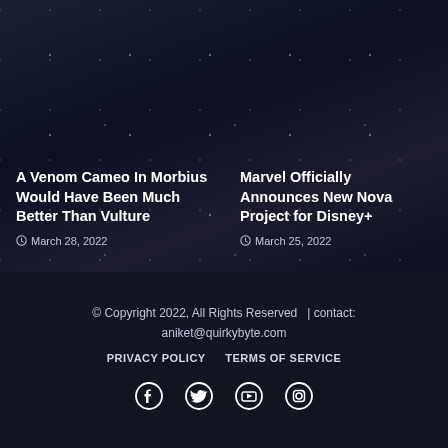A Venom Cameo In Morbius Would Have Been Much Better Than Vulture
March 28, 2022
Marvel Officially Announces New Nova Project for Disney+
March 25, 2022
© Copyright 2022, All Rights Reserved  | contact: aniket@quirkybyte.com
PRIVACY POLICY   TERMS OF SERVICE